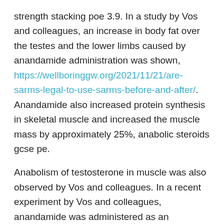strength stacking poe 3.9. In a study by Vos and colleagues, an increase in body fat over the testes and the lower limbs caused by anandamide administration was shown, https://wellboringgw.org/2021/11/21/are-sarms-legal-to-use-sarms-before-and-after/. Anandamide also increased protein synthesis in skeletal muscle and increased the muscle mass by approximately 25%, anabolic steroids gcse pe.
Anabolism of testosterone in muscle was also observed by Vos and colleagues. In a recent experiment by Vos and colleagues, anandamide was administered as an intraperitoneal injection to mice with a fat content of 40–50%–it was later shown that androgen levels in these animals increased to levels not observed in